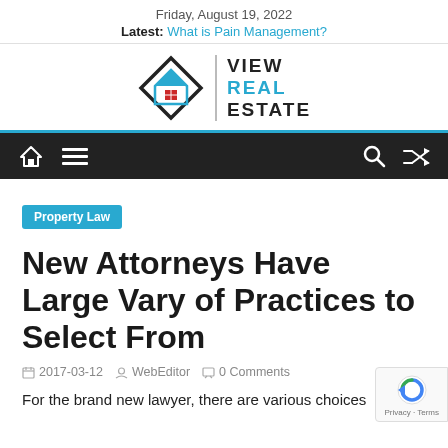Friday, August 19, 2022
Latest: What is Pain Management?
[Figure (logo): View Real Estate logo with diamond/house shape icon and text VIEW REAL ESTATE]
[Figure (other): Dark navigation bar with home icon, hamburger menu, search and shuffle icons]
Property Law
New Attorneys Have Large Vary of Practices to Select From
2017-03-12   WebEditor   0 Comments
For the brand new lawyer, there are various choices